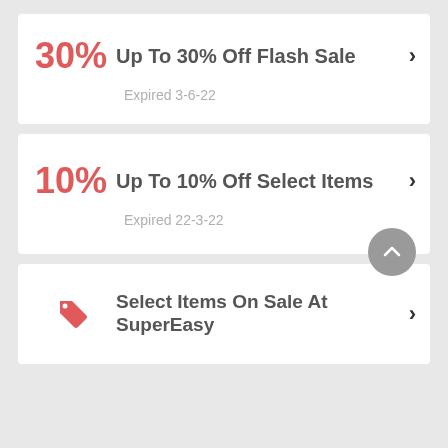30% — Up To 30% Off Flash Sale — Expired 3-6-22
10% — Up To 10% Off Select Items — Expired 22-3-22
Select Items On Sale At SuperEasy